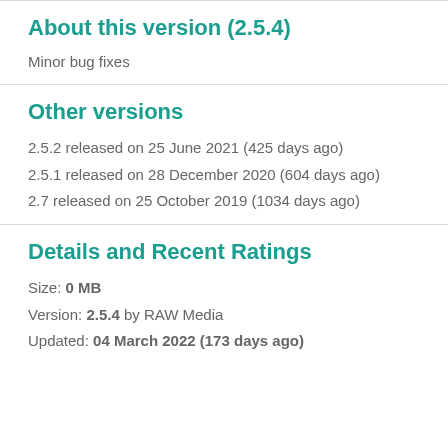About this version (2.5.4)
Minor bug fixes
Other versions
2.5.2 released on 25 June 2021 (425 days ago)
2.5.1 released on 28 December 2020 (604 days ago)
2.7 released on 25 October 2019 (1034 days ago)
Details and Recent Ratings
Size: 0 MB
Version: 2.5.4 by RAW Media
Updated: 04 March 2022 (173 days ago)